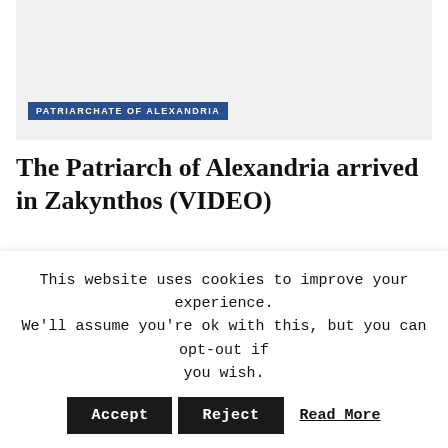[Figure (photo): Top image placeholder (gray rectangle), partially visible at top of page]
PATRIARCHATE OF ALEXANDRIA
The Patriarch of Alexandria arrived in Zakynthos (VIDEO)
AUGUST 23, 2022
[Figure (photo): Bottom image placeholder (gray rectangle)]
This website uses cookies to improve your experience. We'll assume you're ok with this, but you can opt-out if you wish. Accept Reject Read More